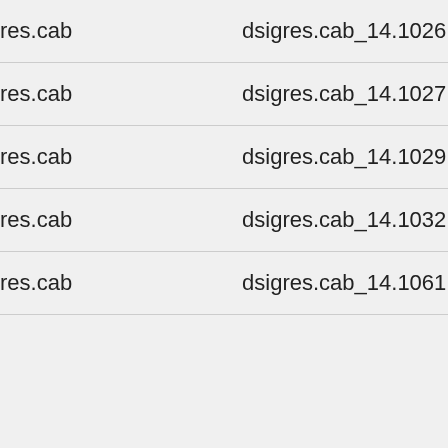|  |  |
| --- | --- |
| res.cab | dsigres.cab_14.1026 |
| res.cab | dsigres.cab_14.1027 |
| res.cab | dsigres.cab_14.1029 |
| res.cab | dsigres.cab_14.1032 |
| res.cab | dsigres.cab_14.1061 |